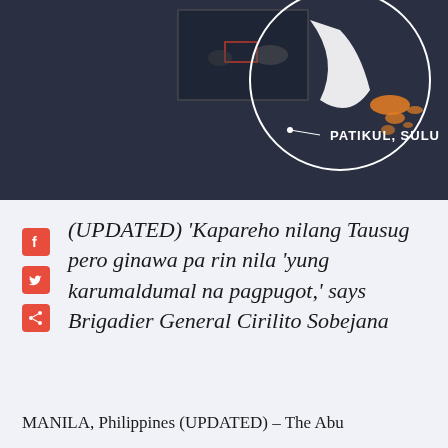[Figure (map): Map showing Patikul, Sulu location with dark background, white circle overlay and orange highlight areas. Small inset map in upper left corner.]
(UPDATED) 'Kapareho nilang Tausug pero ginawa pa rin nila 'yung karumaldumal na pagpugot,' says Brigadier General Cirilito Sobejana
MANILA, Philippines (UPDATED) – The Abu